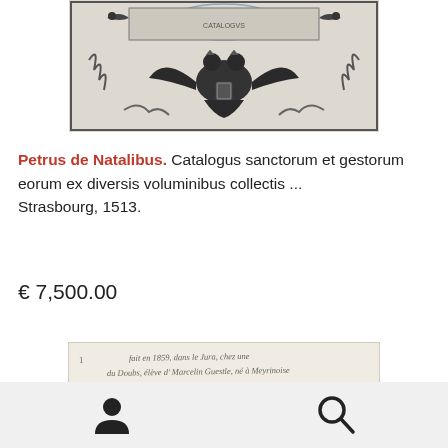[Figure (illustration): Antique engraved title page detail showing heraldic imagery with a double-headed eagle, decorative cartouche, birds, and scrollwork, in black and white.]
Petrus de Natalibus. Catalogus sanctorum et gestorum eorum ex diversis voluminibus collectis ... Strasbourg, 1513.
€ 7,500.00
[Figure (photo): Handwritten manuscript note or inscription in cursive script on aged paper, partially legible, mentioning 1859.]
User icon and Search icon navigation bar